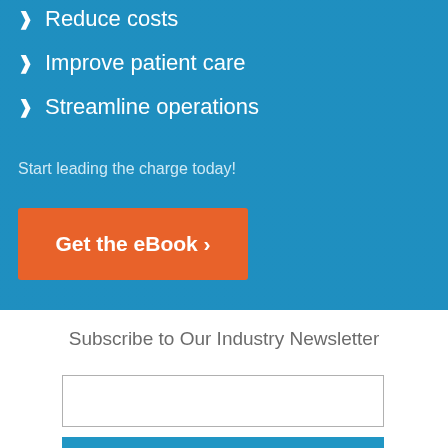Reduce costs
Improve patient care
Streamline operations
Start leading the charge today!
Get the eBook ›
Subscribe to Our Industry Newsletter